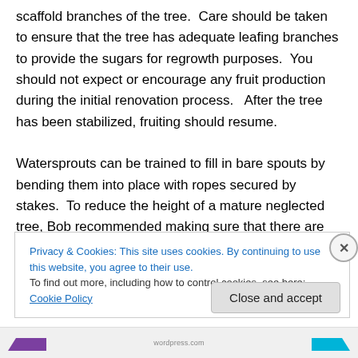scaffold branches of the tree.  Care should be taken to ensure that the tree has adequate leafing branches to provide the sugars for regrowth purposes.  You should not expect or encourage any fruit production during the initial renovation process.   After the tree has been stabilized, fruiting should resume.

Watersprouts can be trained to fill in bare spouts by bending them into place with ropes secured by stakes.  To reduce the height of a mature neglected tree, Bob recommended making sure that there are sufficient well
Privacy & Cookies: This site uses cookies. By continuing to use this website, you agree to their use.
To find out more, including how to control cookies, see here: Cookie Policy
Close and accept
wordpress.com